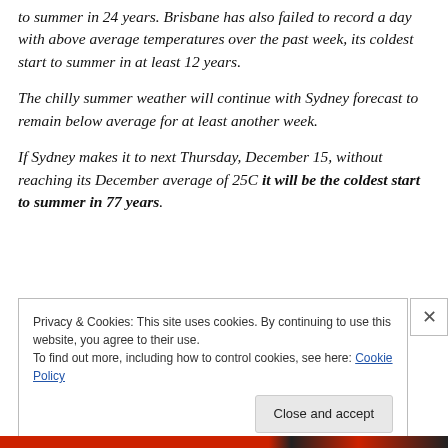to summer in 24 years. Brisbane has also failed to record a day with above average temperatures over the past week, its coldest start to summer in at least 12 years.
The chilly summer weather will continue with Sydney forecast to remain below average for at least another week.
If Sydney makes it to next Thursday, December 15, without reaching its December average of 25C it will be the coldest start to summer in 77 years.
Privacy & Cookies: This site uses cookies. By continuing to use this website, you agree to their use.
To find out more, including how to control cookies, see here: Cookie Policy
Close and accept